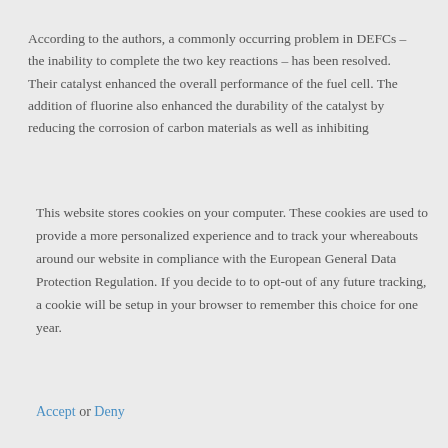According to the authors, a commonly occurring problem in DEFCs – the inability to complete the two key reactions – has been resolved. Their catalyst enhanced the overall performance of the fuel cell. The addition of fluorine also enhanced the durability of the catalyst by reducing the corrosion of carbon materials as well as inhibiting
This website stores cookies on your computer. These cookies are used to provide a more personalized experience and to track your whereabouts around our website in compliance with the European General Data Protection Regulation. If you decide to to opt-out of any future tracking, a cookie will be setup in your browser to remember this choice for one year.
Accept or Deny